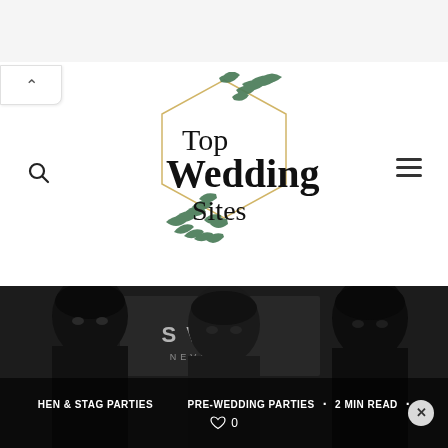[Figure (logo): Top Wedding Sites logo with geometric hexagonal gold frame, green botanical leaves, and serif/bold text reading Top Wedding Sites]
[Figure (photo): Black and white photograph of three men in front of a Fabulous Las Vegas Nevada sign, used as a hero image for a hen and stag parties article]
HEN & STAG PARTIES   PRE-WEDDING PARTIES  ·  2 MIN READ  ♡ 0